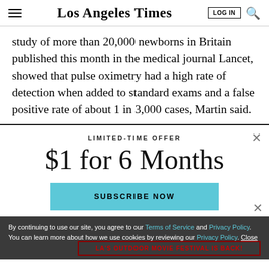Los Angeles Times
study of more than 20,000 newborns in Britain published this month in the medical journal Lancet, showed that pulse oximetry had a high rate of detection when added to standard exams and a false positive rate of about 1 in 3,000 cases, Martin said.
LIMITED-TIME OFFER
$1 for 6 Months
SUBSCRIBE NOW
By continuing to use our site, you agree to our Terms of Service and Privacy Policy. You can learn more about how we use cookies by reviewing our Privacy Policy. Close
LA'S OUTDOOR MOVIE FESTIVAL IS BACK!